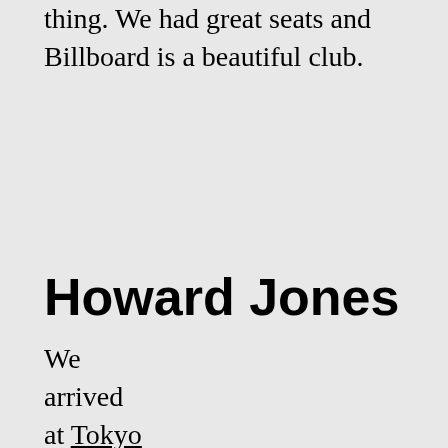thing. We had great seats and Billboard is a beautiful club.
Howard Jones
We arrived at Tokyo Midtown and